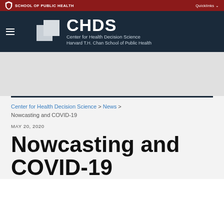SCHOOL OF PUBLIC HEALTH | Quicklinks
[Figure (logo): CHDS – Center for Health Decision Science, Harvard T.H. Chan School of Public Health logo with two overlapping grey squares]
Center for Health Decision Science > News > Nowcasting and COVID-19
MAY 20, 2020
Nowcasting and COVID-19